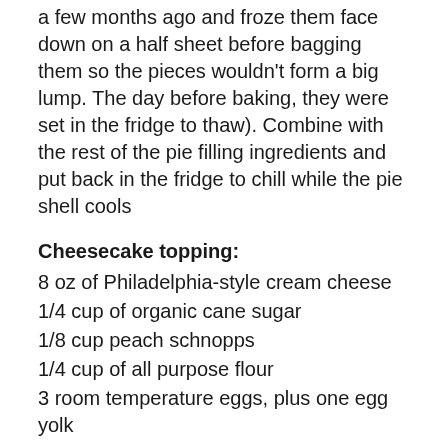a few months ago and froze them face down on a half sheet before bagging them so the pieces wouldn't form a big lump. The day before baking, they were set in the fridge to thaw). Combine with the rest of the pie filling ingredients and put back in the fridge to chill while the pie shell cools
Cheesecake topping:
8 oz of Philadelphia-style cream cheese
1/4 cup of organic cane sugar
1/8 cup peach schnopps
1/4 cup of all purpose flour
3 room temperature eggs, plus one egg yolk
Whip together the eggs, flour and cream cheese, and peach schnopps. Then add the sugar.
Remove the beans and foil you used to blind-bake the